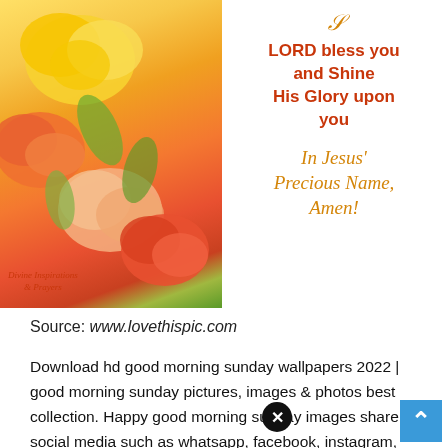[Figure (photo): Inspirational image with yellow and orange roses on the left side and religious text on white background on the right. Text reads: 'LORD bless you and Shine His Glory upon you In Jesus' Precious Name, Amen!' with watermark 'Divine Inspirations & Prayers']
Source: www.lovethispic.com
Download hd good morning sunday wallpapers 2022 | good morning sunday pictures, images & photos best collection. Happy good morning sunday images share on social media such as whatsapp, facebook, instagram,